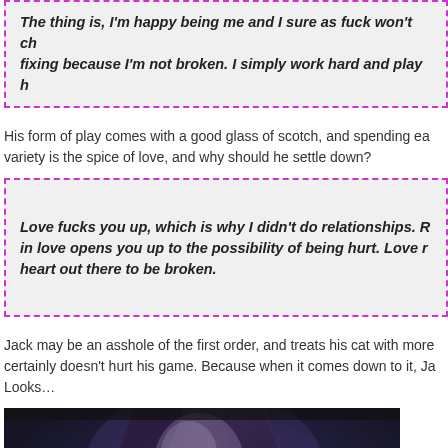The thing is, I'm happy being me and I sure as fuck won't change for fixing because I'm not broken. I simply work hard and play h...
His form of play comes with a good glass of scotch, and spending ea... variety is the spice of love, and why should he settle down?
Love fucks you up, which is why I didn't do relationships. R... in love opens you up to the possibility of being hurt. Love r... heart out there to be broken.
Jack may be an asshole of the first order, and treats his cat with more... certainly doesn't hurt his game. Because when it comes down to it, Ja... Looks…
[Figure (photo): Dark dramatic photo of a man with purple/blue lighting, low-key portrait style]